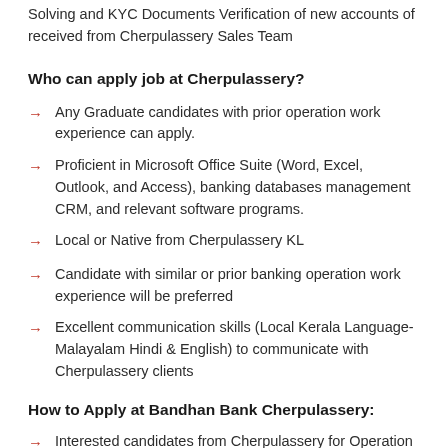Solving and KYC Documents Verification of new accounts of received from Cherpulassery Sales Team
Who can apply job at Cherpulassery?
Any Graduate candidates with prior operation work experience can apply.
Proficient in Microsoft Office Suite (Word, Excel, Outlook, and Access), banking databases management CRM, and relevant software programs.
Local or Native from Cherpulassery KL
Candidate with similar or prior banking operation work experience will be preferred
Excellent communication skills (Local Kerala Language- Malayalam Hindi & English) to communicate with Cherpulassery clients
How to Apply at Bandhan Bank Cherpulassery:
Interested candidates from Cherpulassery for Operation Jobs in Bandhan Bank – need to apply